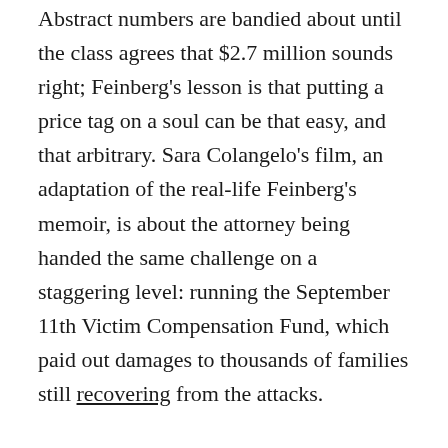Abstract numbers are bandied about until the class agrees that $2.7 million sounds right; Feinberg's lesson is that putting a price tag on a soul can be that easy, and that arbitrary. Sara Colangelo's film, an adaptation of the real-life Feinberg's memoir, is about the attorney being handed the same challenge on a staggering level: running the September 11th Victim Compensation Fund, which paid out damages to thousands of families still recovering from the attacks.
Colangelo's movie, written by Max Borenstein, was released yesterday, just a week before the 20th anniversary of 9/11. That timing wasn't always planned—Worth debuted at the Sundance Film Festival back in January 2020. But it means the